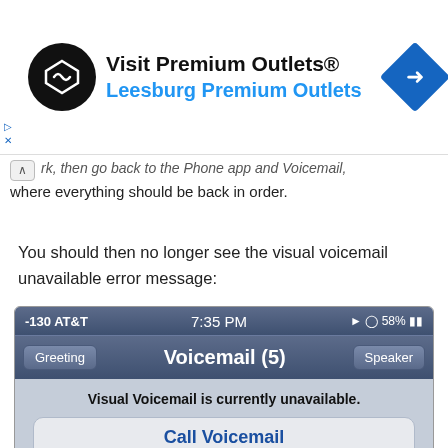[Figure (screenshot): Advertisement banner for Visit Premium Outlets® - Leesburg Premium Outlets with logo and navigation icon]
rk, then go back to the Phone app and Voicemail, where everything should be back in order.
You should then no longer see the visual voicemail unavailable error message:
[Figure (screenshot): iPhone screenshot showing Voicemail screen with status bar showing -130 AT&T, 7:35 PM, 58% battery. Navigation bar with Greeting and Speaker buttons, title Voicemail (5). Error message: Visual Voicemail is currently unavailable. Call Voicemail button shown.]